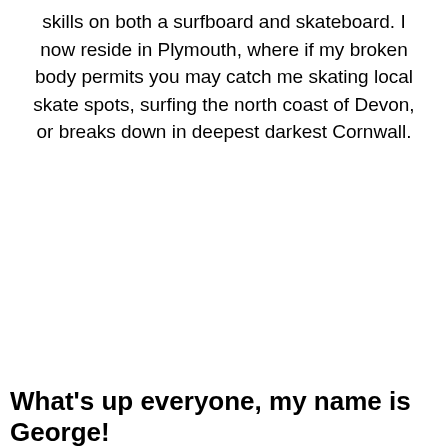skills on both a surfboard and skateboard. I now reside in Plymouth, where if my broken body permits you may catch me skating local skate spots, surfing the north coast of Devon, or breaks down in deepest darkest Cornwall.
What's up everyone, my name is George!